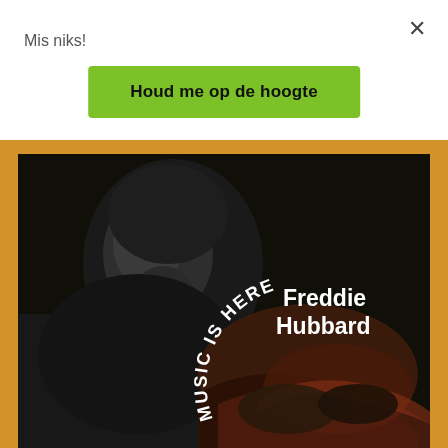Mis niks!
×
Houd me op de hoogte
[Figure (illustration): Album cover for Freddie Hubbard 'Music Is Here' showing a black and white close-up photo of a jazz musician playing trumpet, with curved text 'MUSIC IS HERE' and 'Freddie Hubbard' in white on a dark background, set against an orange/amber border.]